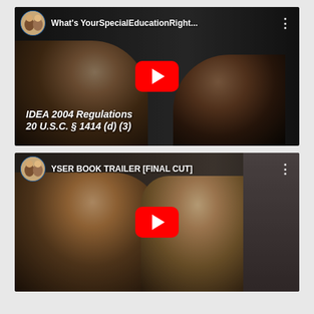[Figure (screenshot): YouTube video thumbnail: 'What's YourSpecialEducationRight...' showing two women in a discussion, with text overlay 'IDEA 2004 Regulations 20 U.S.C. § 1414 (d) (3)' and a YouTube play button]
[Figure (screenshot): YouTube video thumbnail: 'YSER BOOK TRAILER [FINAL CUT]' showing two women talking with a YouTube play button]